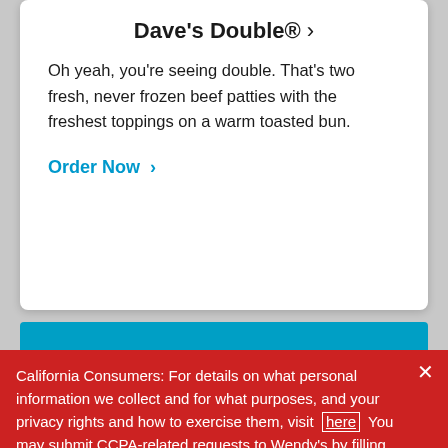Dave's Double® >
Oh yeah, you're seeing double. That's two fresh, never frozen beef patties with the freshest toppings on a warm toasted bun.
Order Now >
California Consumers: For details on what personal information we collect and for what purposes, and your privacy rights and how to exercise them, visit here You may submit CCPA-related requests to Wendy's by filling out the webform here.